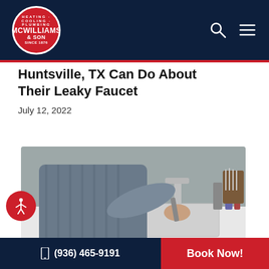McWilliams & Son — Navigation header with logo, search icon, and menu icon
Huntsville, TX Can Do About Their Leaky Faucet
July 12, 2022
[Figure (photo): A plumber or repairman working on a faucet at a kitchen or bathroom sink, using a wrench, viewed from above/side angle.]
(936) 465-9191  Book Now!